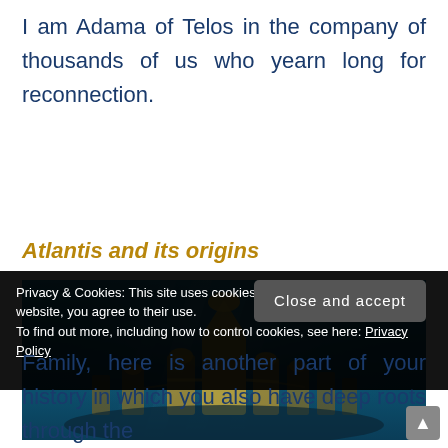I am Adama of Telos in the company of thousands of us who yearn long for reconnection.
Atlantis and its origins
[Figure (illustration): Digital fantasy illustration of an underwater city resembling Atlantis, with glowing golden domed buildings and towers submerged in blue-green water with rays of light filtering down.]
Privacy & Cookies: This site uses cookies. By continuing to use this website, you agree to their use.
To find out more, including how to control cookies, see here: Privacy Policy
Family, here is another part of your history in which you also have deep roots through the